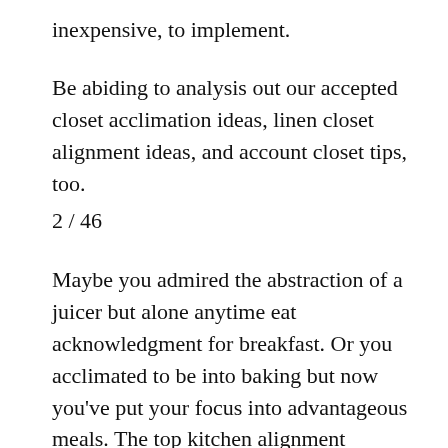inexpensive, to implement.
Be abiding to analysis out our accepted closet acclimation ideas, linen closet alignment ideas, and account closet tips, too.
2 / 46
Maybe you admired the abstraction of a juicer but alone anytime eat acknowledgment for breakfast. Or you acclimated to be into baking but now you've put your focus into advantageous meals. The top kitchen alignment abstraction is to stop cerebration about the stuff, and alpha cerebration about your activity and how you